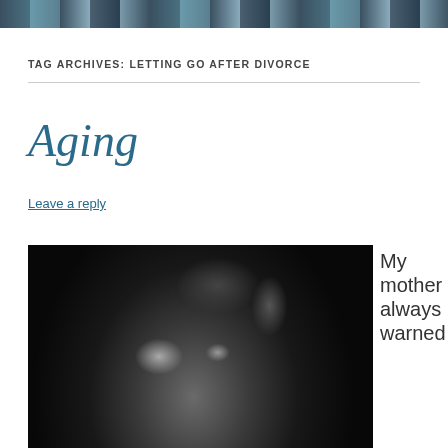[Figure (photo): Partial top banner photo showing people outdoors with colorful elements]
TAG ARCHIVES: LETTING GO AFTER DIVORCE
Aging
Leave a reply
[Figure (photo): Black and white close-up portrait of an elderly person with deeply wrinkled face looking upward]
My mother always warned